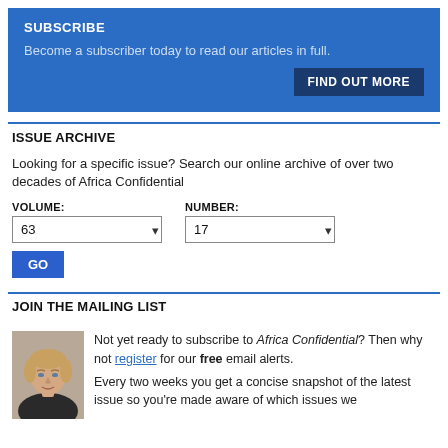SUBSCRIBE
Become a subscriber today to read our articles in full.
FIND OUT MORE
ISSUE ARCHIVE
Looking for a specific issue? Search our online archive of over two decades of Africa Confidential
VOLUME: 63   NUMBER: 17   GO
JOIN THE MAILING LIST
Not yet ready to subscribe to Africa Confidential? Then why not register for our free email alerts.
Every two weeks you get a concise snapshot of the latest issue so you're made aware of which issues we